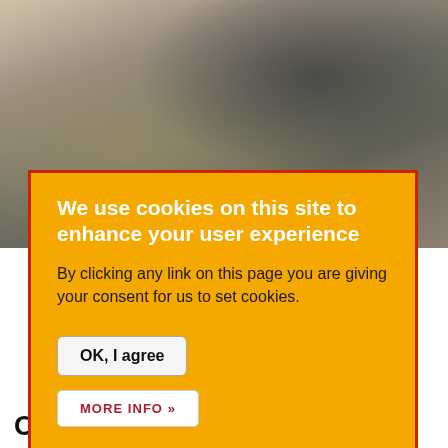[Figure (photo): Blurred background photo of a person wearing glasses, leaning over, viewed from above. Muted warm tones.]
We use cookies on this site to enhance your user experience
By clicking any link on this page you are giving your consent for us to set cookies.
OK, I agree
MORE INFO »
Our goal is to nurture and